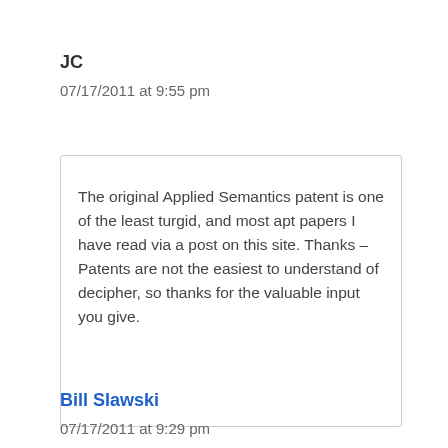JC
07/17/2011 at 9:55 pm
The original Applied Semantics patent is one of the least turgid, and most apt papers I have read via a post on this site. Thanks – Patents are not the easiest to understand of decipher, so thanks for the valuable input you give.
Bill Slawski
07/17/2011 at 9:29 pm